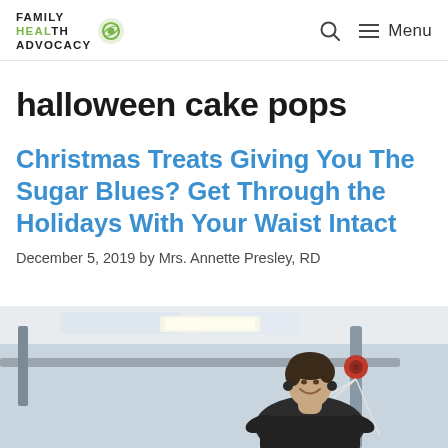FAMILY HEALTH ADVOCACY — Menu
halloween cake pops
Christmas Treats Giving You The Sugar Blues? Get Through the Holidays With Your Waist Intact
December 5, 2019 by Mrs. Annette Presley, RD
[Figure (photo): Man in a gym using cable exercise machine, smiling, wearing black long-sleeve shirt]